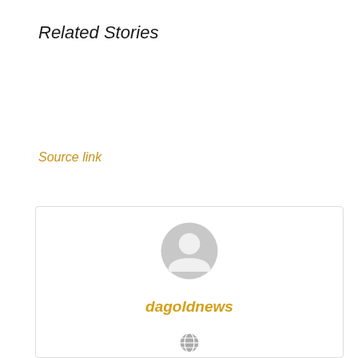Related Stories
Source link
[Figure (illustration): Author profile card with a generic grey avatar icon, author name 'dagoldnews' in gold italic bold text, and a small globe icon below]
dagoldnews